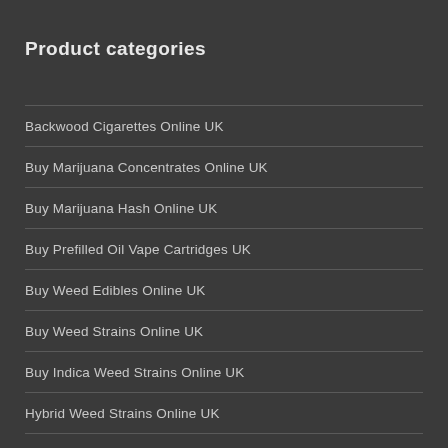Product categories
Backwood Cigarettes Online UK
Buy Marijuana Concentrates Online UK
Buy Marijuana Hash Online UK
Buy Prefilled Oil Vape Cartridges UK
Buy Weed Edibles Online UK
Buy Weed Strains Online UK
Buy Indica Weed Strains Online UK
Hybrid Weed Strains Online UK
Sativa Weed Strains Online UK